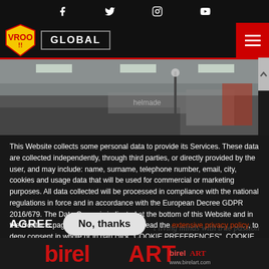Social icons: Facebook, Twitter, Instagram, YouTube
[Figure (logo): VROO!! logo shield with GLOBAL navigation bar and hamburger menu button]
[Figure (photo): Interior photo of what appears to be a karting facility or workshop]
This Website collects some personal data to provide its Services. These data are collected independently, through third parties, or directly provided by the user, and may include: name, surname, telephone number, email, city, cookies and usage data that will be used for commercial or marketing purposes. All data collected will be processed in compliance with the national regulations in force and in accordance with the European Decree GDPR 2016/679. The Data Owner is indicated at the bottom of this Website and in the Contacts page. For more information read the extensive privacy policy, to deny consent in whole or in part click "COOKIE PREFERENCES". COOKIE PREFERENCES
AGREE  No, thanks
[Figure (logo): BirelART logo at bottom - birelART www.birelart.com branding in red and white]